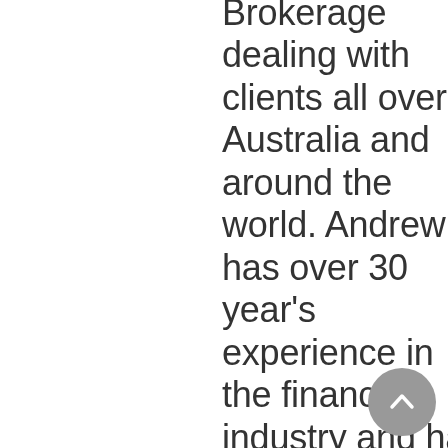Brokerage dealing with clients all over Australia and around the world. Andrew has over 30 year's experience in the finance industry and has assisted clients to secure over $2 Billion in mortgage lending over his time. Intuitive Finance deals with all aspects of lending from helping first homebuyers, someone